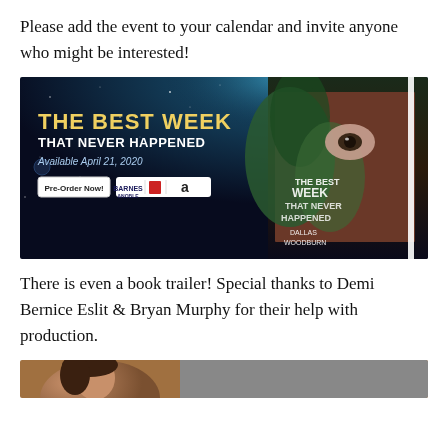Please add the event to your calendar and invite anyone who might be interested!
[Figure (illustration): Book promotional banner for 'The Best Week That Never Happened' by Dallas Woodburn. Dark night-sky background with text: 'THE BEST WEEK THAT NEVER HAPPENED', 'Available April 21, 2020', 'Pre-Order Now!' button, retailer logos (Barnes & Noble, unknown, Amazon), and book cover image showing a woman's face through tropical leaves.]
There is even a book trailer! Special thanks to Demi Bernice Eslit & Bryan Murphy for their help with production.
[Figure (photo): Partial photo visible at bottom, appears to show a person.]